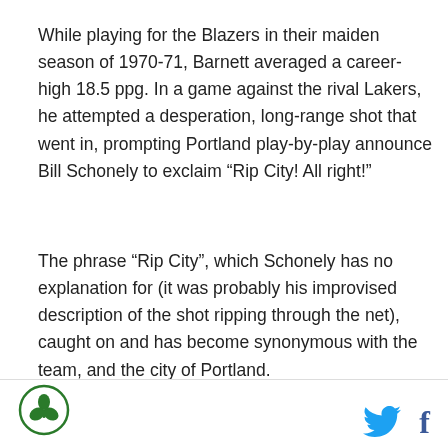While playing for the Blazers in their maiden season of 1970-71, Barnett averaged a career-high 18.5 ppg. In a game against the rival Lakers, he attempted a desperation, long-range shot that went in, prompting Portland play-by-play announce Bill Schonely to exclaim “Rip City! All right!”
The phrase “Rip City”, which Schonely has no explanation for (it was probably his improvised description of the shot ripping through the net), caught on and has become synonymous with the team, and the city of Portland.
Since 1985, Barnett has been the highly-acclaimed TV analyst voice of the Golden State Warriors, for whom
[Figure (logo): Green circular logo with a shamrock/clover leaf icon inside]
[Figure (logo): Twitter bird icon in cyan/blue and Facebook 'f' icon in blue]